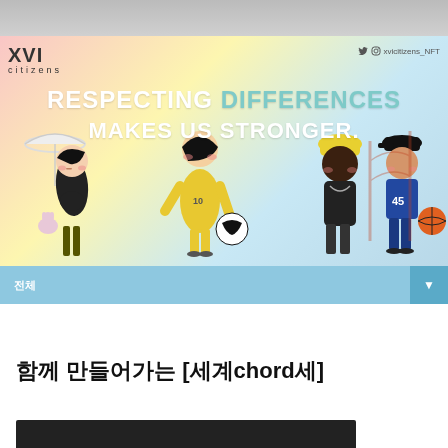[Figure (illustration): XVI Citizens NFT project banner with illustrated diverse characters and text 'RESPECTING DIFFERENCES MAKES US STRONGER.' with gradient background (pink/yellow/blue). XVI Citizens logo top left, social media handle xvicitizens_NFT top right.]
☆ ◎ xvicitizens_NFT
전체
함께 만들어가는 [세계chord세]
[Figure (screenshot): Dark bottom bar partially visible]